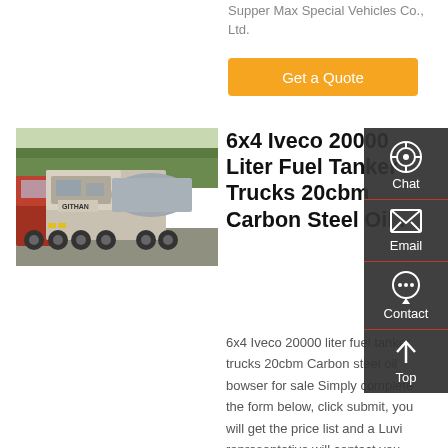Supper Max Special Vehicles Co., Ltd.
[Figure (other): Orange 'Get a Quote' button]
[Figure (photo): Photo of fuel tanker trucks (Iveco/Gitran) parked outdoors]
6x4 Iveco 20000 Liter Fuel Tanker Trucks 20cbm Carbon Steel Oil .
6x4 Iveco 20000 liter fuel tanker trucks 20cbm Carbon steel oil bowser for sale Simply complete the form below, click submit, you will get the price list and a Luvi representative will contact you within one business day. Please
[Figure (other): Right sidebar with Chat, Email, Contact, and Top navigation icons]